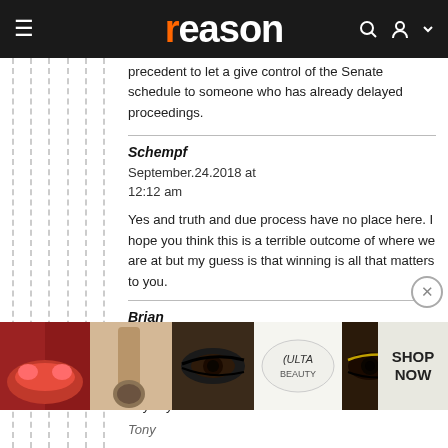reason
precedent to let a give control of the Senate schedule to someone who has already delayed proceedings.
Schempf
September.24.2018 at 12:12 am

Yes and truth and due process have no place here. I hope you think this is a terrible outcome of where we are at but my guess is that winning is all that matters to you.
Brian
September.24.2018 at 12:50 am

And hardball politics at SCOTUS is confirming him anyway
[Figure (photo): ULTA Beauty advertisement banner showing makeup products and models with eyes and lips, with 'SHOP NOW' button]
Tony